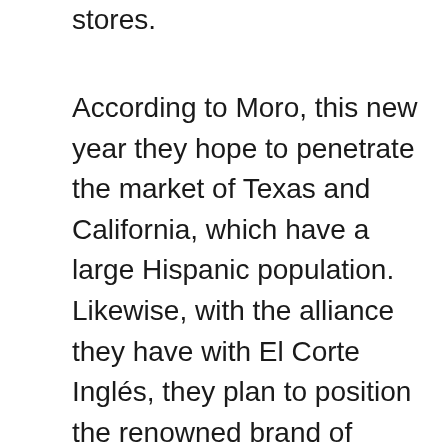stores.
According to Moro, this new year they hope to penetrate the market of Texas and California, which have a large Hispanic population. Likewise, with the alliance they have with El Corte Inglés, they plan to position the renowned brand of Spanish products in the United States.